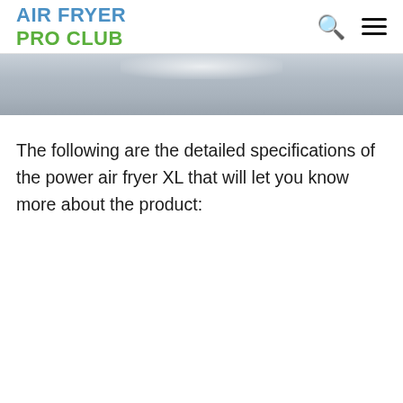AIR FRYER PRO CLUB
[Figure (photo): Partial view of a metallic/silver appliance or surface, cropped at the top of the content area]
The following are the detailed specifications of the power air fryer XL that will let you know more about the product: